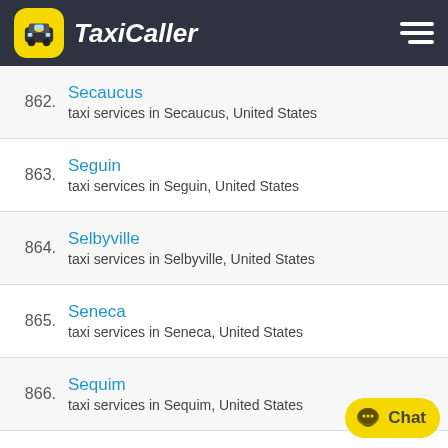TaxiCaller
862. Secaucus — taxi services in Secaucus, United States
863. Seguin — taxi services in Seguin, United States
864. Selbyville — taxi services in Selbyville, United States
865. Seneca — taxi services in Seneca, United States
866. Sequim — taxi services in Sequim, United States
867. Sevierville — taxi services in Sevierville, United States
868. Sheboygan — taxi services in Sheboygan, United States